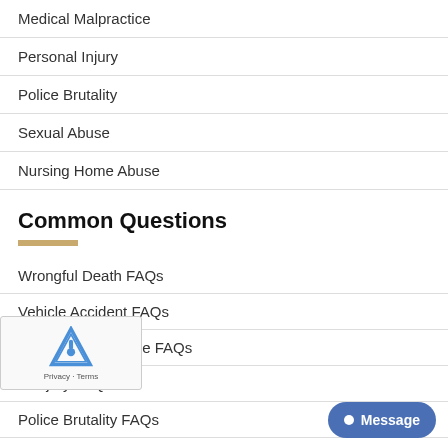Medical Malpractice
Personal Injury
Police Brutality
Sexual Abuse
Nursing Home Abuse
Common Questions
Wrongful Death FAQs
Vehicle Accident FAQs
Medical Malpractice FAQs
al Injury FAQs
Police Brutality FAQs